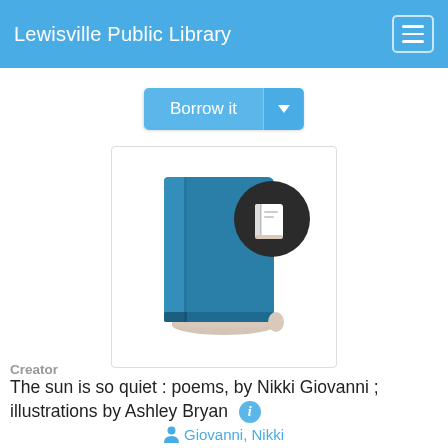Lewisville Public Library
Borrow it
[Figure (illustration): Stylized teal book icon with a dark circular badge showing a white book symbol]
The sun is so quiet : poems, by Nikki Giovanni ; illustrations by Ashley Bryan
Creator
Giovanni, Nikki